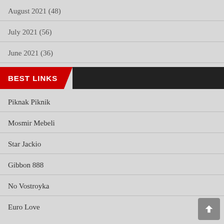August 2021 (48)
July 2021 (56)
June 2021 (36)
BEST LINKS
Piknak Piknik
Mosmir Mebeli
Star Jackio
Gibbon 888
No Vostroyka
Euro Love